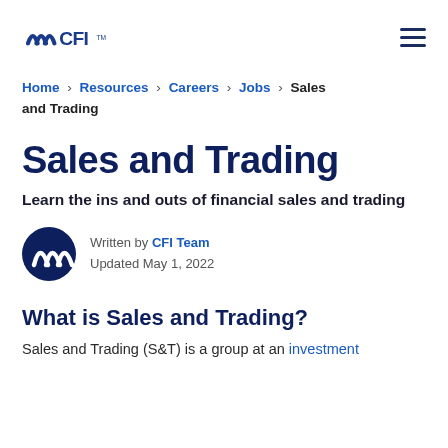CFI logo and navigation menu
Home > Resources > Careers > Jobs > Sales and Trading
Sales and Trading
Learn the ins and outs of financial sales and trading
Written by CFI Team
Updated May 1, 2022
What is Sales and Trading?
Sales and Trading (S&T) is a group at an investment